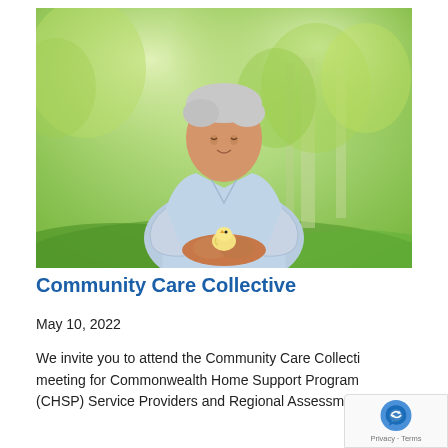[Figure (photo): An elderly man in a light blue shirt standing outdoors in a lush green garden, looking down at a small chick held in his cupped hands.]
Community Care Collective
May 10, 2022
We invite you to attend the Community Care Collective meeting for Commonwealth Home Support Program (CHSP) Service Providers and Regional Assessment